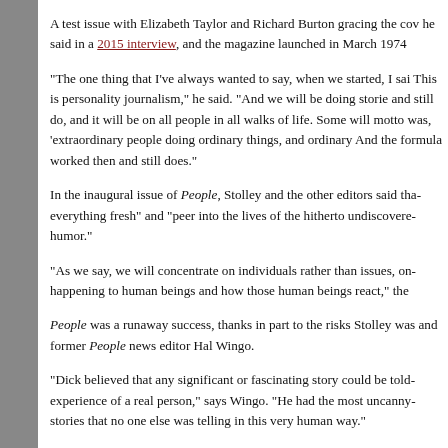A test issue with Elizabeth Taylor and Richard Burton gracing the cover, he said in a 2015 interview, and the magazine launched in March 1974.
“The one thing that I’ve always wanted to say, when we started, I said, This is personality journalism,” he said. “And we will be doing stories and still do, and it will be on all people in all walks of life. Some will motto was, ‘extraordinary people doing ordinary things, and ordinary And the formula worked then and still does.”
In the inaugural issue of People, Stolley and the other editors said that everything fresh” and “peer into the lives of the hitherto undiscovered humor.”
“As we say, we will concentrate on individuals rather than issues, on happening to human beings and how those human beings react,” the
People was a runaway success, thanks in part to the risks Stolley was and former People news editor Hal Wingo.
“Dick believed that any significant or fascinating story could be told experience of a real person,” says Wingo. “He had the most uncanny stories that no one else was telling in this very human way.”
On April 22, 1996, Stolley, then 67, declared just how much the most